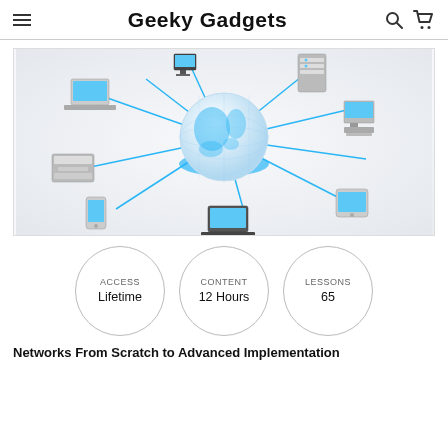Geeky Gadgets
[Figure (illustration): Network diagram illustration showing a globe in the center connected by blue lines to various devices: laptops, desktop computer, server, tablet, mobile phones, and a printer arranged in a radial pattern on a white background.]
ACCESS Lifetime
CONTENT 12 Hours
LESSONS 65
Networks From Scratch to Advanced Implementation